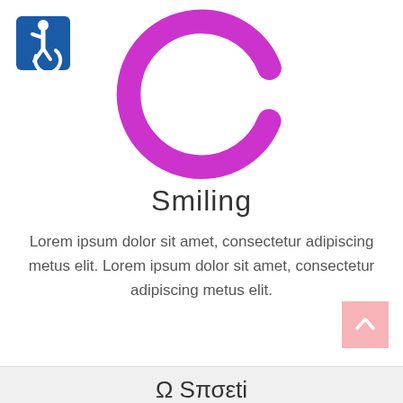[Figure (illustration): Blue accessibility wheelchair icon on a blue square background, positioned top-left]
[Figure (donut-chart): Large magenta/purple donut ring (circle outline) with an opening at the top, indicating a loading or progress ring shape, no fill inside]
Smiling
Lorem ipsum dolor sit amet, consectetur adipiscing metus elit. Lorem ipsum dolor sit amet, consectetur adipiscing metus elit.
[Figure (illustration): Pink square button with upward-pointing white arrow/chevron for scroll-to-top navigation]
Ω Sπσεti...